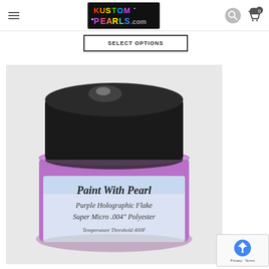Kustom Pearls
SELECT OPTIONS
[Figure (photo): A small jar of Paint With Pearl Purple Holographic Flake Super Micro .004" Polyester powder with a black lid, label reads 'Paint With Pearl, Purple Holographic Flake, Super Micro .004" Polyester, Temperature Threshold 400F']